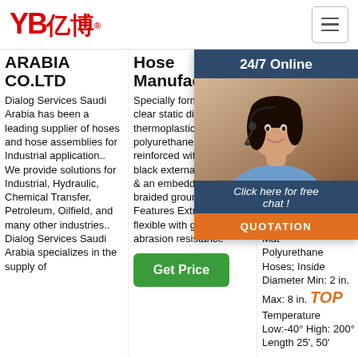[Figure (logo): YB亿博 logo in red with registered trademark symbol]
[Figure (other): Hamburger menu icon (three horizontal lines) in a rounded rectangle button]
ARABIA CO.LTD
Dialog Services Saudi Arabia has been a leading supplier of hoses and hose assemblies for Industrial application.. We provide solutions for Industrial, Hydraulic, Chemical Transfer, Petroleum, Oilfield, and many other industries.. Dialog Services Saudi Arabia specializes in the supply of
Hose Manufacturer
Specially formulated clear static dissipative thermoplastic polyurethane hose reinforced with a rigid black external ABS helix & an embedded copper braided grounding wire. Features Extremely flexible with great abrasion resistance
[Figure (other): Green 'Get Price' button]
Hose Ma
Specially formulated clear static dissipative thermoplastic polyurethane hose reinforced with a rigid black external ABS helix & Braided Material: Polyurethane Hoses; Inside Diameter Min: 2 in. Max: 8 in. Temperature Low:-40° High: 200° Length 25', 50'
[Figure (other): 24/7 Online chat widget with customer service photo, 'Click here for free chat!' text and QUOTATION button overlay]